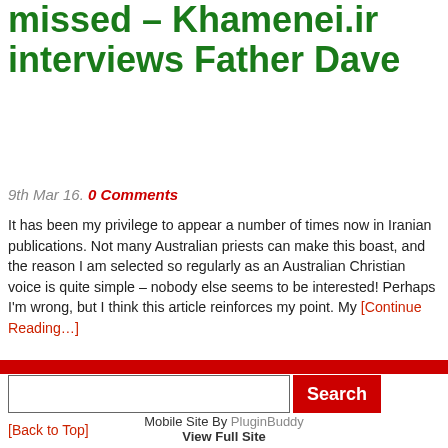missed – Khamenei.ir interviews Father Dave
9th Mar 16. 0 Comments
It has been my privilege to appear a number of times now in Iranian publications. Not many Australian priests can make this boast, and the reason I am selected so regularly as an Australian Christian voice is quite simple – nobody else seems to be interested! Perhaps I'm wrong, but I think this article reinforces my point. My [Continue Reading…]
[Back to Top]
Mobile Site By PluginBuddy
View Full Site